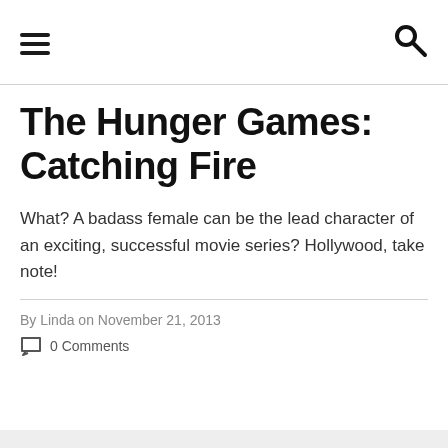☰ 🔍
The Hunger Games: Catching Fire
What? A badass female can be the lead character of an exciting, successful movie series? Hollywood, take note!
By Linda on November 21, 2013
0 Comments